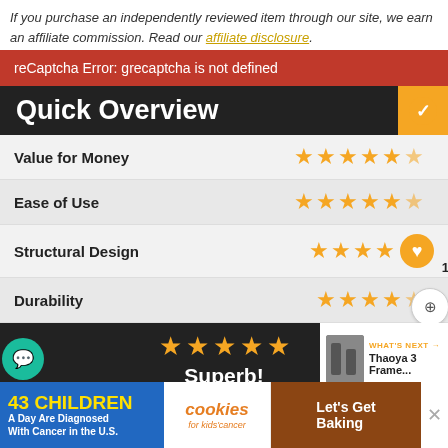If you purchase an independently reviewed item through our site, we earn an affiliate commission. Read our affiliate disclosure.
reCaptcha Error: grecaptcha is not defined
Quick Overview
| Category | Rating |
| --- | --- |
| Value for Money | ★★★★★ |
| Ease of Use | ★★★★★ |
| Structural Design | ★★★★ |
| Durability | ★★★★ |
Superb!
Durable, fast and efficient are just a few words to sum up how
[Figure (infographic): Advertisement banner: 43 Children A Day Are Diagnosed With Cancer in the U.S. — cookies for kids' cancer — Let's Get Baking]